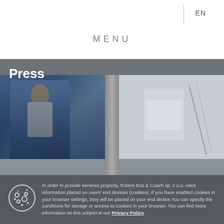EN | MENU
Press
[Figure (photo): Hero banner image showing a person in a blue blazer holding a tablet device on the left, and an office/whiteboard scene on the right, with a dark overlay and 'Press' title]
In order to provide services properly, Solaris Bus & Coach sp. z o.o. uses information placed on users' end devices (cookies). If you have enabled cookies in your browser settings, they will be placed on your end device.You can specify the conditions for storage or access to cookies in your browser. You can find more information on this subject in our Privacy Policy.